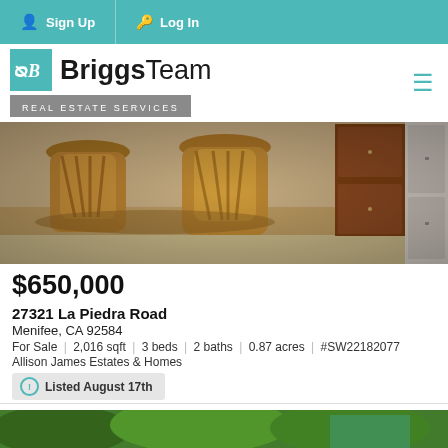Sign Up  Log In
[Figure (logo): BriggsTeam Real Estate Services logo with teal square icon and hamburger menu]
[Figure (photo): Interior photo of a dining area with wooden chairs and table, wood cabinets and refrigerator visible]
$650,000
27321 La Piedra Road
Menifee, CA 92584
For Sale  |  2,016 sqft  |  3 beds  |  2 baths  |  0.87 acres  |  #SW22182077
Allison James Estates & Homes
Listed August 17th
[Figure (photo): Partial exterior/garden photo at bottom of page]